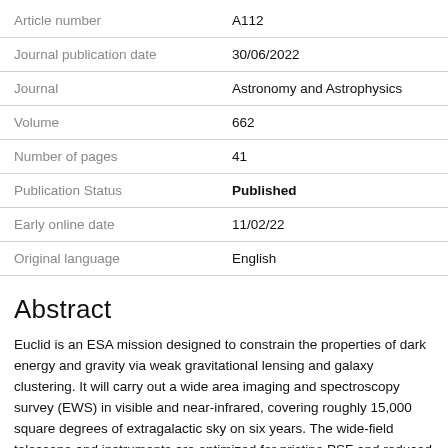| Field | Value |
| --- | --- |
| Article number | A112 |
| Journal publication date | 30/06/2022 |
| Journal | Astronomy and Astrophysics |
| Volume | 662 |
| Number of pages | 41 |
| Publication Status | Published |
| Early online date | 11/02/22 |
| Original language | English |
Abstract
Euclid is an ESA mission designed to constrain the properties of dark energy and gravity via weak gravitational lensing and galaxy clustering. It will carry out a wide area imaging and spectroscopy survey (EWS) in visible and near-infrared, covering roughly 15,000 square degrees of extragalactic sky on six years. The wide-field telescope and instruments are optimized for pristine PSF and reduced straylight, producing very crisp images. This paper presents the building of the Euclid survey, and the process of obtaining the